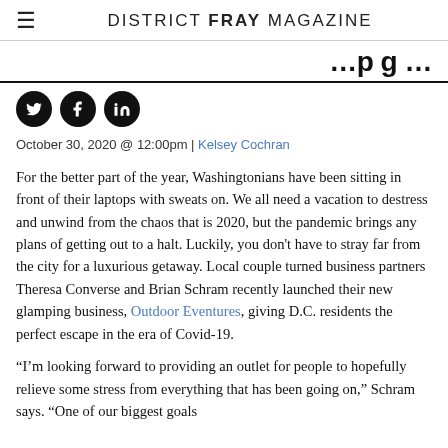DISTRICT FRAY MAGAZINE
…pg…
[Figure (infographic): Three circular social media icons: Twitter (bird), Facebook (f), LinkedIn (in), black circles with white icons]
October 30, 2020 @ 12:00pm | Kelsey Cochran
For the better part of the year, Washingtonians have been sitting in front of their laptops with sweats on. We all need a vacation to destress and unwind from the chaos that is 2020, but the pandemic brings any plans of getting out to a halt. Luckily, you don't have to stray far from the city for a luxurious getaway. Local couple turned business partners Theresa Converse and Brian Schram recently launched their new glamping business, Outdoor Eventures, giving D.C. residents the perfect escape in the era of Covid-19.
“I’m looking forward to providing an outlet for people to hopefully relieve some stress from everything that has been going on,” Schram says. “One of our biggest goals